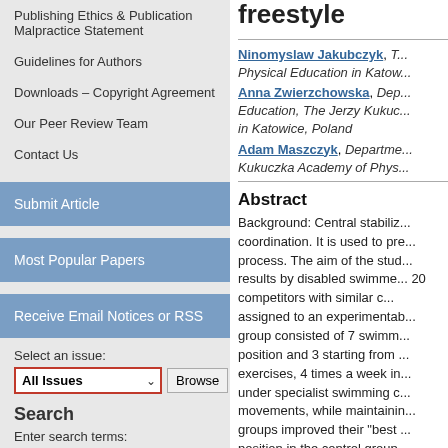Publishing Ethics & Publication Malpractice Statement
Guidelines for Authors
Downloads – Copyright Agreement
Our Peer Review Team
Contact Us
Submit Article
Most Popular Papers
Receive Email Notices or RSS
Select an issue:
All Issues  Browse
Search
Enter search terms:
in this journal
freestyle
Ninomyslaw Jakubczyk, Physical Education in Katow...
Anna Zwierzchowska, Dep... Education, The Jerzy Kukuc... in Katowice, Poland
Adam Maszczyk, Departme... Kukuczka Academy of Phys...
Abstract
Background: Central stabiliz... coordination. It is used to pre... process. The aim of the stud... results by disabled swimme... 20 competitors with similar c... assigned to an experimentab... group consisted of 7 swimm... position and 3 starting from ... exercises, 4 times a week in... under specialist swimming c... movements, while maintainin... groups improved their "best ... position in the control group.... intergroup and intra group r...